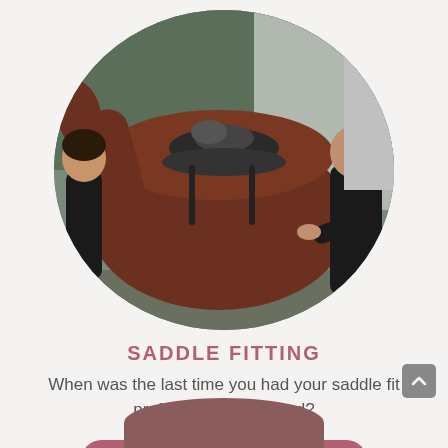[Figure (photo): Circular cropped photo of two people with a brown horse wearing a saddle, outdoors near a metal building. A woman in a black jacket stands on the left, a man in a dark puffer jacket stands on the right gesturing with his hands.]
SADDLE FITTING
When was the last time you had your saddle fit professionally checked?
Read More On Saddle Fitting